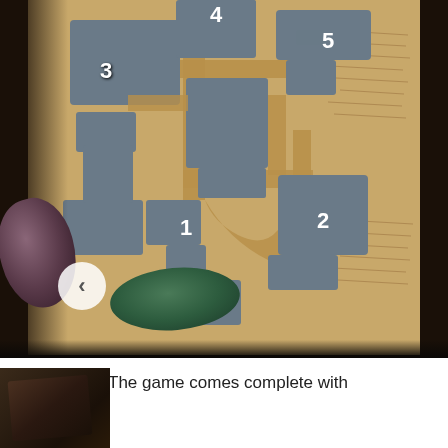[Figure (photo): A fantasy board game map on aged parchment with numbered regions (1-5) marked in white, dungeon/city districts shown in grey stone blocks connected by tan pathways. Several smooth stones (purple and green) are visible in the foreground along with a white circular back-arrow navigation button.]
The game comes complete with